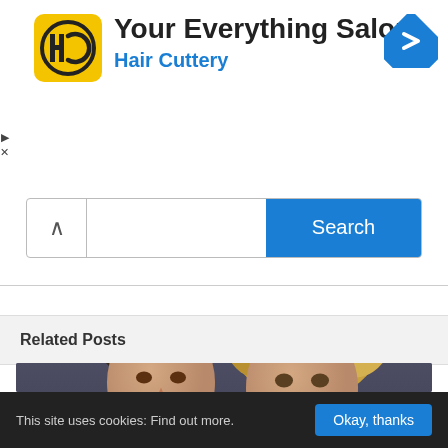[Figure (logo): Hair Cuttery logo — yellow square with HC monogram]
Your Everything Salon
Hair Cuttery
[Figure (illustration): Blue diamond navigation/directions icon in top right]
[Figure (other): Search bar with chevron up icon on left and blue Search button on right]
Related Posts
[Figure (photo): Two women posing for a portrait photo against a dark grey background, likely Lily Tomlin and Jane Fonda]
This site uses cookies: Find out more.
Okay, thanks